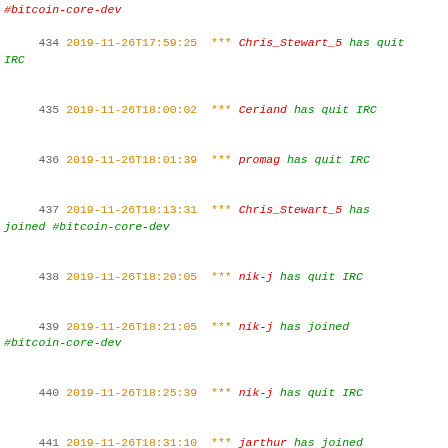#bitcoin-core-dev
434 2019-11-26T17:59:25 *** Chris_Stewart_5 has quit IRC
435 2019-11-26T18:00:02 *** Ceriand has quit IRC
436 2019-11-26T18:01:39 *** promag has quit IRC
437 2019-11-26T18:13:31 *** Chris_Stewart_5 has joined #bitcoin-core-dev
438 2019-11-26T18:20:05 *** nik-j has quit IRC
439 2019-11-26T18:21:05 *** nik-j has joined #bitcoin-core-dev
440 2019-11-26T18:25:39 *** nik-j has quit IRC
441 2019-11-26T18:31:10 *** jarthur has joined #bitcoin-core-dev
442 2019-11-26T18:36:40 *** _andrewtoth_ has joined #bitcoin-core-dev
443 2019-11-26T18:38:00 *** andrewtoth_ has quit IRC
444 2019-11-26T18:41:40 *** promag has joined #bitcoin-core-dev
445 2019-11-26T18:42:40 *** _andrewtoth_ has quit IRC
446 2019-11-26T18:46:26 *** promag has quit IRC
447 2019-11-26T18:47:50 *** nik-j_ has joined #bitcoin-core-dev
448 2019-11-26T18:49:31 *** xorAxAx has joined #bitcoin-core-dev
449 2019-11-26T18:52:32 *** trotski2000_ has quit IRC
450 2019-11-26T18:53:57 *** nik-j_ has quit IRC
451 2019-11-26T18:55:57 *** Zenton has quit IRC
452 2019-11-26T18:56:38 *** dviola has joined